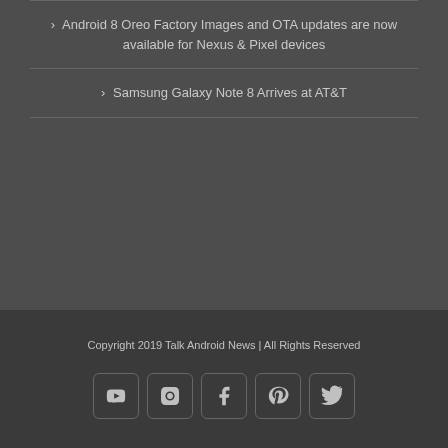Android 8 Oreo Factory Images and OTA updates are now available for Nexus & Pixel devices
Samsung Galaxy Note 8 Arrives at AT&T
Copyright 2019 Talk Android News | All Rights Reserved